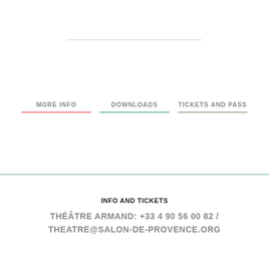MORE INFO
DOWNLOADS
TICKETS AND PASS
INFO AND TICKETS
THÉÂTRE ARMAND: +33 4 90 56 00 82 / THEATRE@SALON-DE-PROVENCE.ORG